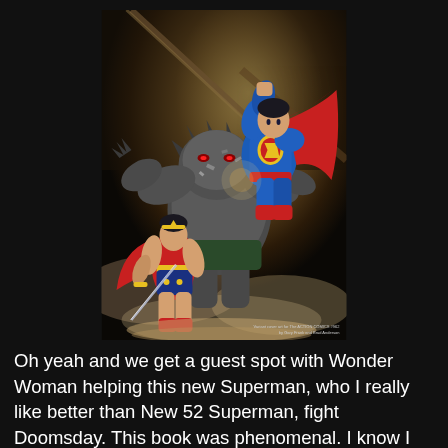[Figure (illustration): Comic book cover art showing Superman and Wonder Woman fighting Doomsday. Superman in blue and red costume is punching Doomsday (large grey monster) from above, while Wonder Woman in red and gold attacks from the lower left. Dynamic action scene with dust and energy effects.]
Variant cover art for The ACTION COMICS #962 by Gary Frank and Brad Anderson
Oh yeah and we get a guest spot with Wonder Woman helping this new Superman, who I really like better than New 52 Superman, fight Doomsday. This book was phenomenal. I know I have said that about pretty much all of the Rebirth Vol